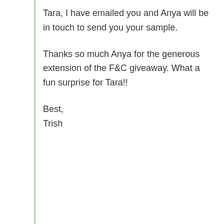Tara, I have emailed you and Anya will be in touch to send you your sample.

Thanks so much Anya for the generous extension of the F&C giveaway. What a fun surprise for Tara!!

Best,
Trish
↳ Reply
Anya
September 25, 2009 at 4:26 am
I've written to Tara and I'll slip the sample in...